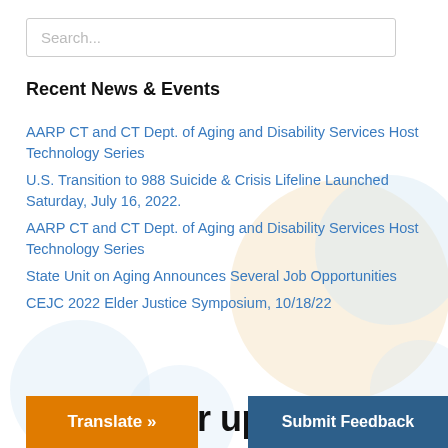Search...
Recent News & Events
AARP CT and CT Dept. of Aging and Disability Services Host Technology Series
U.S. Transition to 988 Suicide & Crisis Lifeline Launched Saturday, July 16, 2022.
AARP CT and CT Dept. of Aging and Disability Services Host Technology Series
State Unit on Aging Announces Several Job Opportunities
CEJC 2022 Elder Justice Symposium, 10/18/22
Sign up for up
Translate »
Submit Feedback